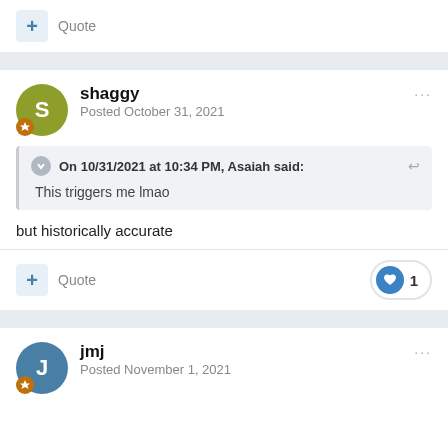+ Quote
shaggy
Posted October 31, 2021
On 10/31/2021 at 10:34 PM, Asaiah said:
This triggers me lmao
but historically accurate
+ Quote  1
jmj
Posted November 1, 2021